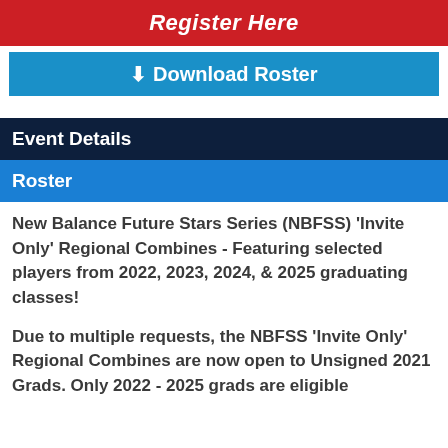Register Here
Download Roster
Event Details
Roster
New Balance Future Stars Series (NBFSS) 'Invite Only' Regional Combines - Featuring selected players from 2022, 2023, 2024, & 2025 graduating classes!
Due to multiple requests, the NBFSS 'Invite Only' Regional Combines are now open to Unsigned 2021 Grads. Only 2022 - 2025 grads are eligible